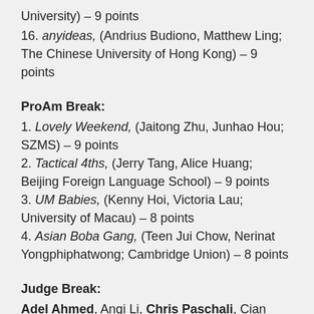University) – 9 points
16. anyideas, (Andrius Budiono, Matthew Ling; The Chinese University of Hong Kong) – 9 points
ProAm Break:
1. Lovely Weekend, (Jaitong Zhu, Junhao Hou; SZMS) – 9 points
2. Tactical 4ths, (Jerry Tang, Alice Huang; Beijing Foreign Language School) – 9 points
3. UM Babies, (Kenny Hoi, Victoria Lau; University of Macau) – 8 points
4. Asian Boba Gang, (Teen Jui Chow, Nerinat Yongphiphatwong; Cambridge Union) – 8 points
Judge Break:
Adel Ahmed, Anqi Li, Chris Paschali, Cian Luddy, Clarice Tee, Devashish Trivedi, Erica Liu, Ferdin Sanchez, Har Naveenjeet Singh, Khalis